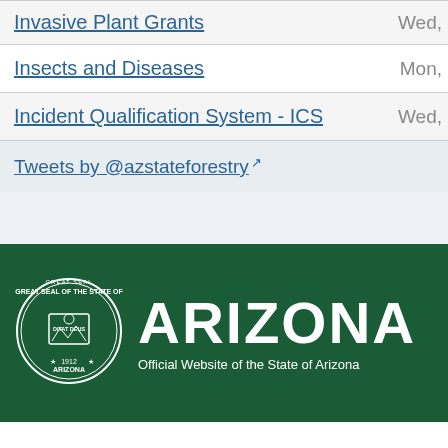| Topic | Date |
| --- | --- |
| Invasive Plant Grants | Wed, |
| Insects and Diseases | Mon, |
| Incident Qualification System - ICS | Wed, |
Tweets by @azstateforestry
[Figure (logo): Arizona state seal and ARIZONA official website of the State of Arizona logo on dark green background]